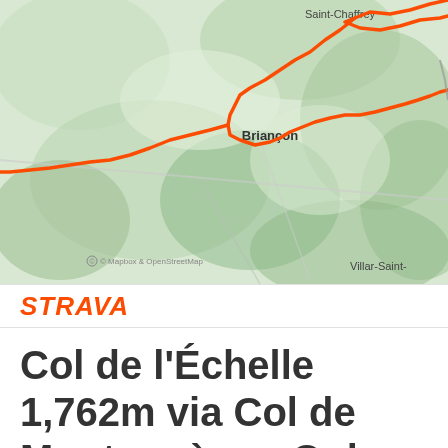[Figure (map): Strava route map showing terrain around Briançon, Saint-Chaffrey, and Villar-Saint- area with an orange highlighted cycling/running route overlaid on a topographic map with green terrain.]
STRAVA
Col de l'Échelle 1,762m via Col de Montgenèvre, Oulx and Bardonecchia Circuit